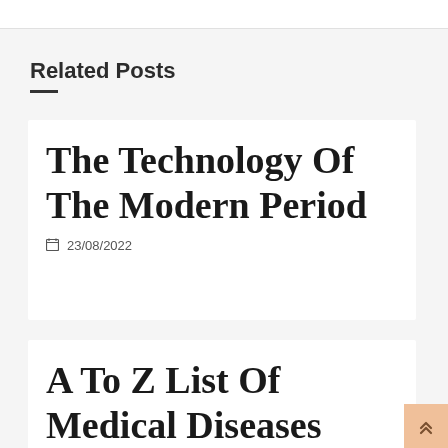Related Posts
The Technology Of The Modern Period
📅 23/08/2022
A To Z List Of Medical Diseases